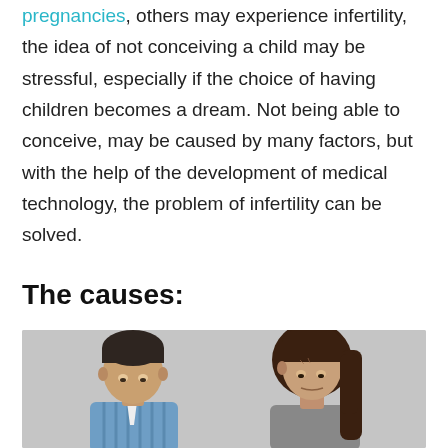pregnancies, others may experience infertility, the idea of not conceiving a child may be stressful, especially if the choice of having children becomes a dream. Not being able to conceive, may be caused by many factors, but with the help of the development of medical technology, the problem of infertility can be solved.
The causes:
[Figure (photo): A man and a woman both looking down with concerned or sad expressions, photographed against a light gray background. The man is on the left wearing a blue checkered shirt, and the woman is on the right with long brown hair.]